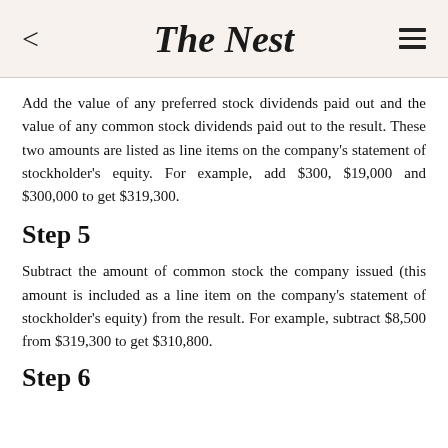The Nest
Add the value of any preferred stock dividends paid out and the value of any common stock dividends paid out to the result. These two amounts are listed as line items on the company's statement of stockholder's equity. For example, add $300, $19,000 and $300,000 to get $319,300.
Step 5
Subtract the amount of common stock the company issued (this amount is included as a line item on the company's statement of stockholder's equity) from the result. For example, subtract $8,500 from $319,300 to get $310,800.
Step 6